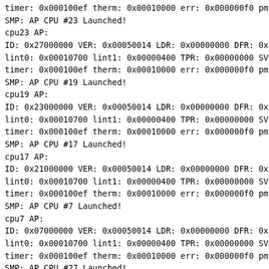timer: 0x000100ef therm: 0x00010000 err: 0x000000f0 pmc: 0x0
SMP: AP CPU #23 Launched!
cpu23 AP:
ID: 0x27000000   VER: 0x00050014 LDR: 0x00000000 DFR: 0xf
lint0: 0x00010700 lint1: 0x00000400 TPR: 0x00000000 SVR: 0x0
timer: 0x000100ef therm: 0x00010000 err: 0x000000f0 pmc: 0x0
SMP: AP CPU #19 Launched!
cpu19 AP:
ID: 0x23000000   VER: 0x00050014 LDR: 0x00000000 DFR: 0xf
lint0: 0x00010700 lint1: 0x00000400 TPR: 0x00000000 SVR: 0x0
timer: 0x000100ef therm: 0x00010000 err: 0x000000f0 pmc: 0x0
SMP: AP CPU #17 Launched!
cpu17 AP:
ID: 0x21000000   VER: 0x00050014 LDR: 0x00000000 DFR: 0xf
lint0: 0x00010700 lint1: 0x00000400 TPR: 0x00000000 SVR: 0x0
timer: 0x000100ef therm: 0x00010000 err: 0x000000f0 pmc: 0x0
SMP: AP CPU #7 Launched!
cpu7 AP:
ID: 0x07000000   VER: 0x00050014 LDR: 0x00000000 DFR: 0xf
lint0: 0x00010700 lint1: 0x00000400 TPR: 0x00000000 SVR: 0x0
timer: 0x000100ef therm: 0x00010000 err: 0x000000f0 pmc: 0x0
SMP: AP CPU #27 Launched!
cpu27 AP:
ID: 0x2b000000   VER: 0x00050014 LDR: 0x00000000 DFR: 0xf
lint0: 0x00010700 lint1: 0x00000400 TPR: 0x00000000 SVR: 0x0